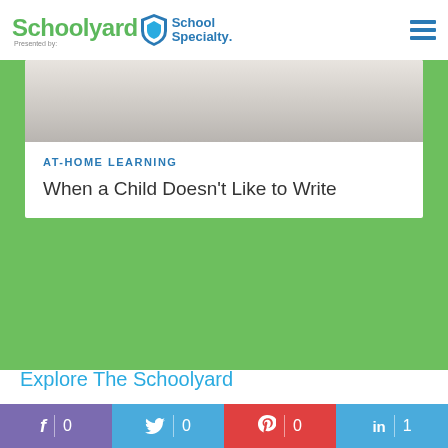Schoolyard Presented by: School Specialty
[Figure (photo): Partial photo of notebook or papers on a desk, shown at top of article card]
AT-HOME LEARNING
When a Child Doesn't Like to Write
Explore The Schoolyard
[Figure (photo): Blue-tinted photo of children in classroom, smiling]
f 0 | Twitter 0 | Pinterest 0 | in 1